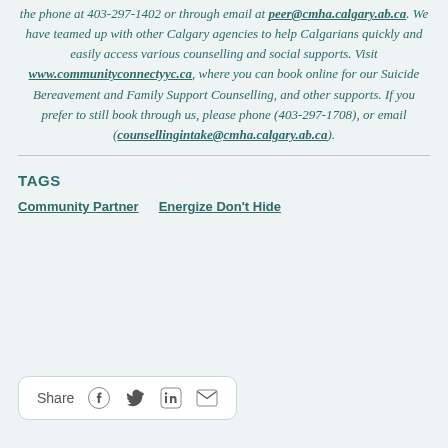the phone at 403-297-1402 or through email at peer@cmha.calgary.ab.ca. We have teamed up with other Calgary agencies to help Calgarians quickly and easily access various counselling and social supports. Visit www.communityconnectyyc.ca, where you can book online for our Suicide Bereavement and Family Support Counselling, and other supports. If you prefer to still book through us, please phone (403-297-1708), or email (counsellingintake@cmha.calgary.ab.ca).
TAGS
Community Partner
Energize Don't Hide
Share